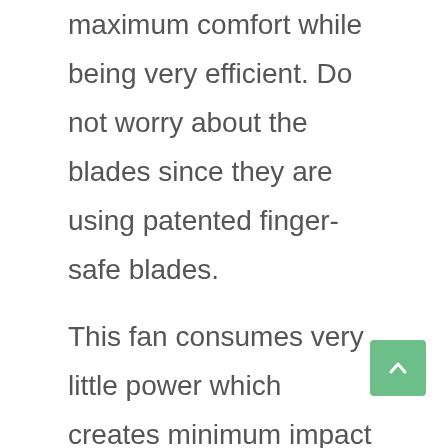maximum comfort while being very efficient. Do not worry about the blades since they are using patented finger-safe blades.
This fan consumes very little power which creates minimum impact on your batteries. It is designed to be compact and can fit easily in tight spaces. It comes with a suction cup and has a lighter plug for easy installation to a power source.